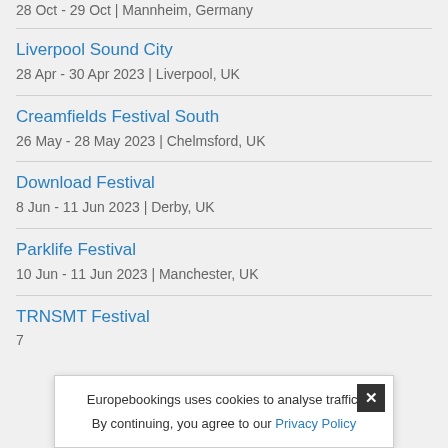28 Oct - 29 Oct | Mannheim, Germany
Liverpool Sound City
28 Apr - 30 Apr 2023 | Liverpool, UK
Creamfields Festival South
26 May - 28 May 2023 | Chelmsford, UK
Download Festival
8 Jun - 11 Jun 2023 | Derby, UK
Parklife Festival
10 Jun - 11 Jun 2023 | Manchester, UK
TRNSMT Festival
7...
Europebookings uses cookies to analyse traffic. By continuing, you agree to our Privacy Policy